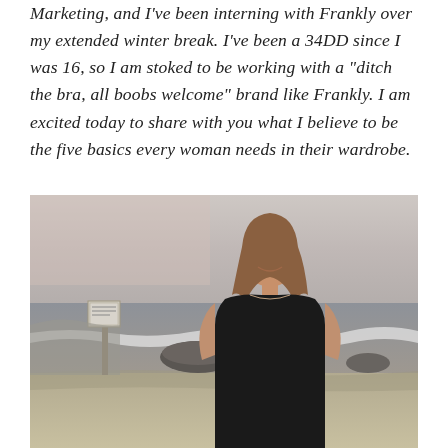Marketing, and I've been interning with Frankly over my extended winter break. I've been a 34DD since I was 16, so I am stoked to be working with a "ditch the bra, all boobs welcome" brand like Frankly. I am excited today to share with you what I believe to be the five basics every woman needs in their wardrobe.
[Figure (photo): Young woman with long brown hair, smiling, wearing a black sleeveless top, standing on a beach with overcast sky, rocks, and ocean waves in the background.]